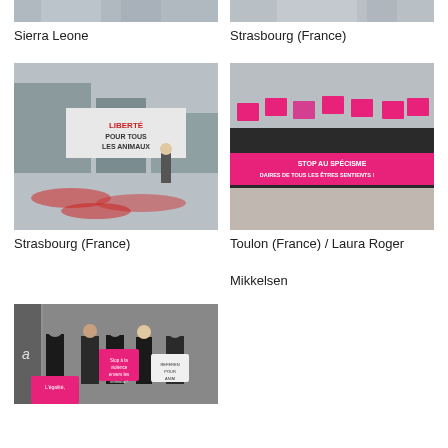[Figure (photo): Protest photo cropped at top — Sierra Leone]
Sierra Leone
[Figure (photo): Protest photo cropped at top — Strasbourg (France)]
Strasbourg (France)
[Figure (photo): Protest scene in Strasbourg France with banner reading LIBERTÉ POUR TOUS LES ANIMAUX, people lying on ground]
Strasbourg (France)
[Figure (photo): Protest scene with pink banner reading STOP AU SPÉCISME DAIRES DE TOUS LES ÊTRES SENTIENTS!, group of masked protesters]
Toulon (France) / Laura Roger Mikkelsen
[Figure (photo): Protest photo showing masked activists holding signs including Stop à la violence envers les animaux and L'égalité]